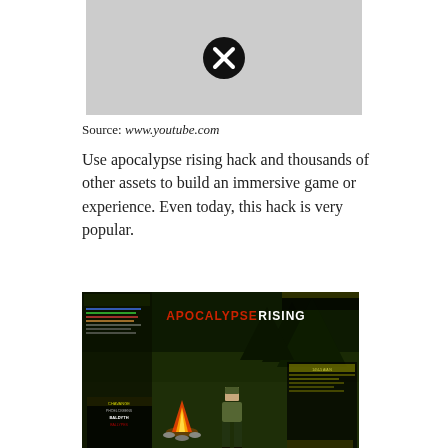[Figure (screenshot): Broken image placeholder (grey box with X icon) — YouTube video thumbnail that failed to load]
Source: www.youtube.com
Use apocalypse rising hack and thousands of other assets to build an immersive game or experience. Even today, this hack is very popular.
[Figure (screenshot): Screenshot of the Roblox game 'Apocalypse Rising' showing a Roblox character near a campfire with game UI elements visible. Title text reads 'APOCALYPSE RISING'.]
Source: robloxfreegamestoplayisfree1.blogspot.com